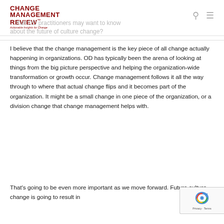Change Management Review — Actionable Insights for Change
…that OD practitioners may want to know about the future of culture change?
I believe that the change management is the key piece of all change actually happening in organizations. OD has typically been the arena of looking at things from the big picture perspective and helping the organization-wide transformation or growth occur. Change management follows it all the way through to where that actual change flips and it becomes part of the organization. It might be a small change in one piece of the organization, or a division change that change management helps with.
That's going to be even more important as we move forward. Future culture change is going to result in